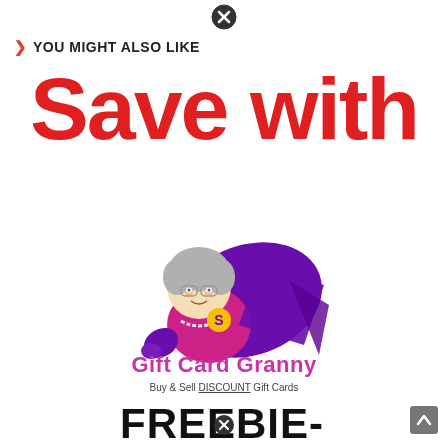[Figure (other): Close/X button circle icon at top center]
YOU MIGHT ALSO LIKE
Save with
[Figure (illustration): Cartoon illustration of an elderly granny dressed as a superhero in purple cape and pink outfit, flying]
GIFT CARD GRANNY
Buy & Sell DISCOUNT Gift Cards
FREEBIE-DEPOT.COM
[Figure (other): Close/X button circle icon at bottom center overlapping FREEBIE-DEPOT.COM text]
[Figure (other): Scroll-to-top button at bottom right]